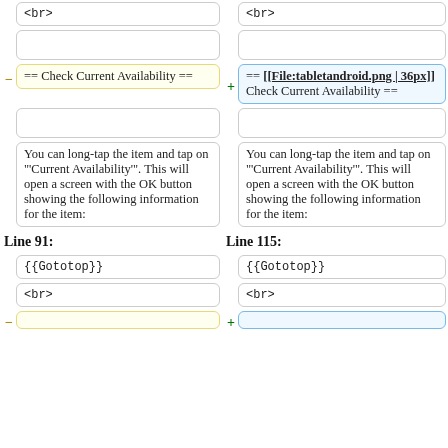<br>
(empty box left)
<br>
(empty box right)
== Check Current Availability ==
== [[File:tabletandroid.png | 36px]] Check Current Availability ==
(empty box left)
(empty box right)
You can long-tap the item and tap on "'Current Availability'". This will open a screen with the OK button showing the following information for the item:
You can long-tap the item and tap on "'Current Availability'". This will open a screen with the OK button showing the following information for the item:
Line 91:
Line 115:
{{Gototop}}
{{Gototop}}
<br>
<br>
(yellow box left bottom)
(blue box right bottom)